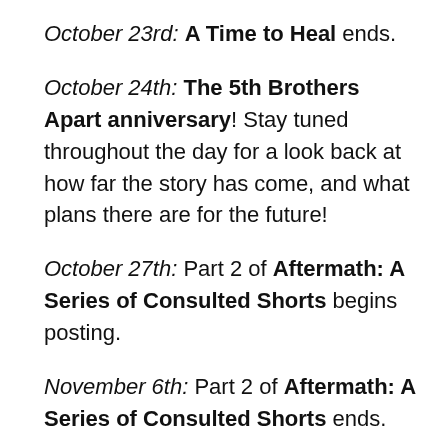October 23rd: A Time to Heal ends.
October 24th: The 5th Brothers Apart anniversary! Stay tuned throughout the day for a look back at how far the story has come, and what plans there are for the future!
October 27th: Part 2 of Aftermath: A Series of Consulted Shorts begins posting.
November 6th: Part 2 of Aftermath: A Series of Consulted Shorts ends.
November 7th to November 16th: Posting hiatus.